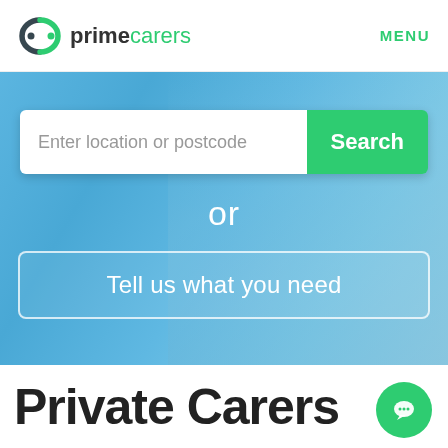primecarers   MENU
[Figure (screenshot): Hero banner with blue overlay showing a person resting, containing a search input bar with placeholder 'Enter location or postcode' and a green Search button, an 'or' label, and a 'Tell us what you need' button]
Private Carers